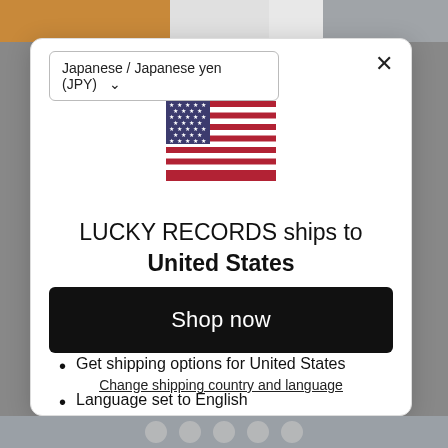Japanese / Japanese yen (JPY)
[Figure (illustration): USA flag icon]
LUCKY RECORDS ships to United States
Shop in USD $
Get shipping options for United States
Language set to English
Shop now
Change shipping country and language